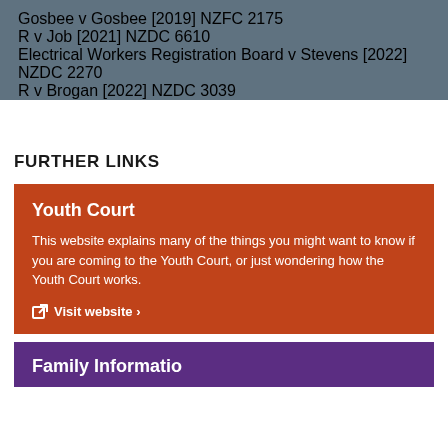Gosbee v Gosbee [2019] NZFC 2175
R v Job [2021] NZDC 6610
Electrical Workers Registration Board v Stevens [2022] NZDC 2270
R v Brogan [2022] NZDC 3039
FURTHER LINKS
Youth Court
This website explains many of the things you might want to know if you are coming to the Youth Court, or just wondering how the Youth Court works.
Visit website ›
Family Information